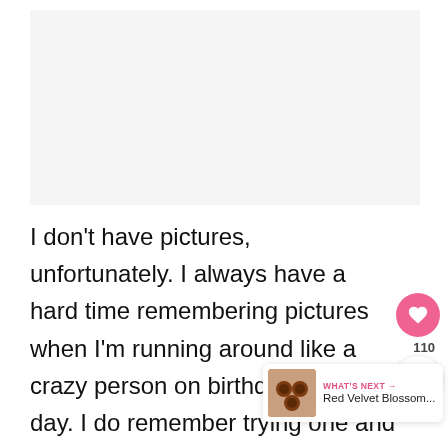[Figure (other): Blank/white image placeholder area at the top of the page]
I don't have pictures, unfortunately. I always have a hard time remembering pictures when I'm running around like a crazy person on birthday party day. I do remember trying one and thinking waxy the chocolate felt.